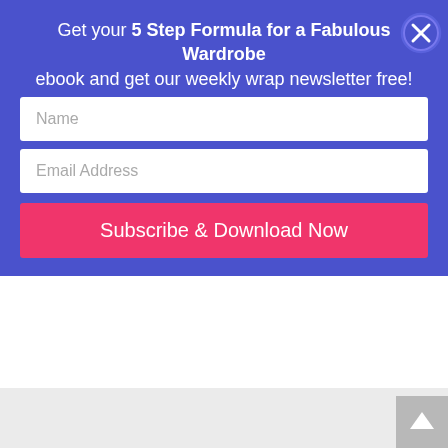Get your 5 Step Formula for a Fabulous Wardrobe ebook and get our weekly wrap newsletter free!
jacket to wear over more formal dresses in the winter as well as with jeans, can't figure out if I should get one like you've shown or go with a cropped one that hits at the waist. I'm leaning towards a cropped one,like this from dorothy perkins - http://us.dorothyperkins.com/webapp/wc beginIndex=0&viewAllFlag=&catalogId=34 what do you think?